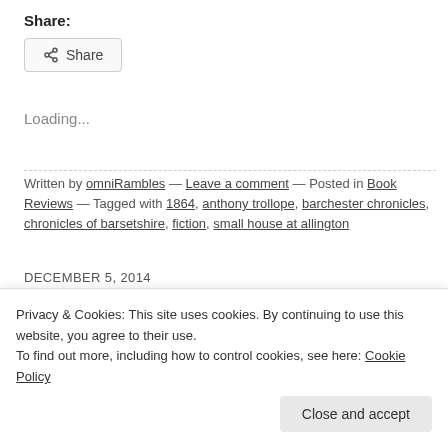Share:
Share (button)
Loading...
Written by omniRambles — Leave a comment — Posted in Book Reviews — Tagged with 1864, anthony trollope, barchester chronicles, chronicles of barsetshire, fiction, small house at allington
DECEMBER 5, 2014
Framley Parsonage
Framley Parsonage by Anthony
[Figure (photo): Dark book cover image thumbnail]
Privacy & Cookies: This site uses cookies. By continuing to use this website, you agree to their use. To find out more, including how to control cookies, see here: Cookie Policy
Close and accept